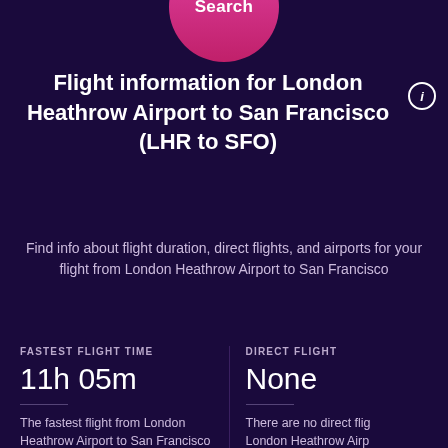[Figure (other): Pink circular Search button at top of page]
Flight information for London Heathrow Airport to San Francisco (LHR to SFO)
Find info about flight duration, direct flights, and airports for your flight from London Heathrow Airport to San Francisco
FASTEST FLIGHT TIME
11h 05m
The fastest flight from London Heathrow Airport to San Francisco
DIRECT FLIGHT
None
There are no direct flights London Heathrow Airpo